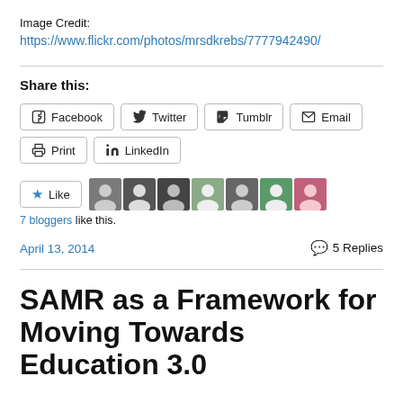Image Credit:
https://www.flickr.com/photos/mrsdkrebs/7777942490/
Share this:
Facebook  Twitter  Tumblr  Email  Print  LinkedIn
7 bloggers like this.
April 13, 2014
5 Replies
SAMR as a Framework for Moving Towards Education 3.0